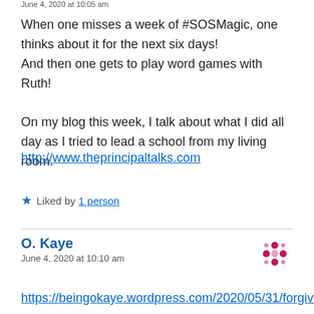June 4, 2020 at 10:05 am
When one misses a week of #SOSMagic, one thinks about it for the next six days!
And then one gets to play word games with Ruth!

On my blog this week, I talk about what I did all day as I tried to lead a school from my living room.
http://www.theprincipaltalks.com
Liked by 1 person
O. Kaye
June 4, 2020 at 10:10 am
https://beingokaye.wordpress.com/2020/05/31/forgivene